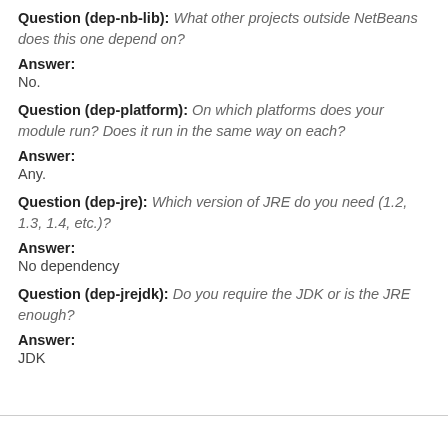Question (dep-nb-lib): What other projects outside NetBeans does this one depend on?
Answer:
No.
Question (dep-platform): On which platforms does your module run? Does it run in the same way on each?
Answer:
Any.
Question (dep-jre): Which version of JRE do you need (1.2, 1.3, 1.4, etc.)?
Answer:
No dependency
Question (dep-jrejdk): Do you require the JDK or is the JRE enough?
Answer:
JDK